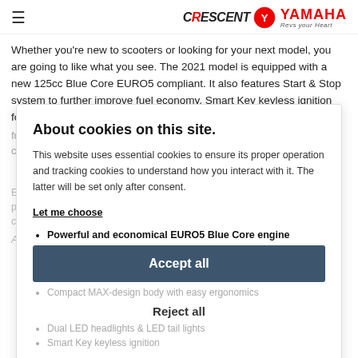Crescent Yamaha - Revs your Heart
Whether you're new to scooters or looking for your next model, you are going to like what you see. The 2021 model is equipped with a new 125cc Blue Core EURO5 compliant. It also features Start & Stop system to further improve fuel economy. Smart Key keyless ignition for simple fuss-free operation - and under the seat there's a huge storage compartment...
About cookies on this site.
This website uses essential cookies to ensure its proper operation and tracking cookies to understand how you interact with it. The latter will be set only after consent.
Let me choose
Accept all
At a glance
Powerful and economical EURO5 Blue Core engine
Compact MAX-design body with easy ergonomics
Reject all
Dual LED headlights & LED tail lights
Smart Key keyless ignition